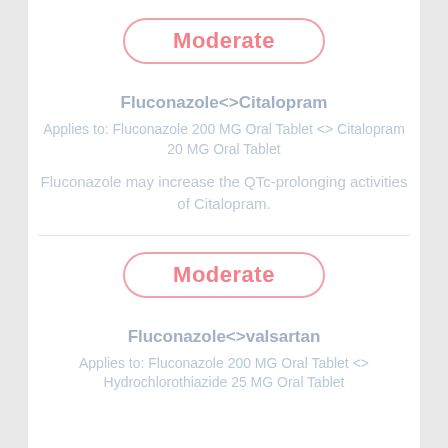[Figure (other): Moderate severity badge - pink rounded rectangle label]
Fluconazole<>Citalopram
Applies to: Fluconazole 200 MG Oral Tablet <> Citalopram 20 MG Oral Tablet
Fluconazole may increase the QTc-prolonging activities of Citalopram.
[Figure (other): Moderate severity badge - pink rounded rectangle label]
Fluconazole<>valsartan
Applies to: Fluconazole 200 MG Oral Tablet <> Hydrochlorothiazide 25 MG Oral Tablet